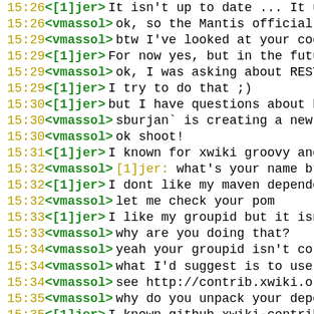15:26 <[1]jer> It isn't up to date ... It us
15:26 <vmassol> ok, so the Mantis official r
15:29 <vmassol> btw I've looked at your code
15:29 <[1]jer> For now yes, but in the futur
15:29 <vmassol> ok, I was asking about REST
15:29 <[1]jer> I try to do that ;)
15:30 <[1]jer> but I have questions about be
15:30 <vmassol> sburjan` is creating a new J
15:30 <vmassol> ok shoot!
15:31 <[1]jer> I known for xwiki groovy and
15:32 <vmassol> [1]jer: what's your name btw
15:32 <[1]jer> I dont like my maven dependen
15:32 <vmassol> let me check your pom
15:33 <[1]jer> I like my groupid but it isn'
15:33 <vmassol> why are you doing that?
15:34 <vmassol> yeah your groupid isn't corr
15:34 <vmassol> what I'd suggest is to use o
15:34 <vmassol> see http://contrib.xwiki.org
15:35 <vmassol> why do you unpack your depen
15:35 <[1]jer> I known github xwiki-contrib
15:37 <vmassol> is it because you want to pa
15:38 <vmassol> if so you don't need to do t